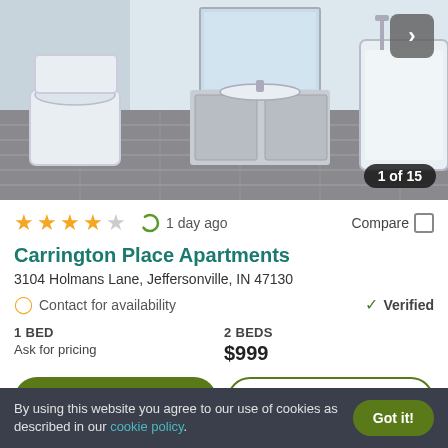[Figure (photo): Bathroom interior with toilet, vanity with mirror, wood-look tile flooring, and bathtub visible in the background. Navigation arrow button in upper right corner. Image counter '1 of 15' in lower right.]
★★★★☆  1 day ago  Compare
Carrington Place Apartments
3104 Holmans Lane, Jeffersonville, IN 47130
Contact for availability  ✓ Verified
1 BED
Ask for pricing
2 BEDS
$999
View Details  Contact Property
By using this website you agree to our use of cookies as described in our cookie policy.  Got it!